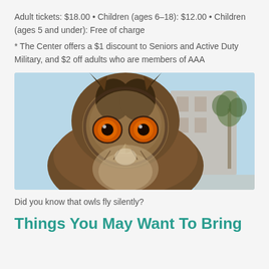Adult tickets: $18.00 • Children (ages 6–18): $12.00 • Children (ages 5 and under): Free of charge
* The Center offers a $1 discount to Seniors and Active Duty Military, and $2 off adults who are members of AAA
[Figure (photo): Close-up photograph of an owl with striking orange eyes, brown and black mottled feathers, with a building and palm tree in the blurred background.]
Did you know that owls fly silently?
Things You May Want To Bring